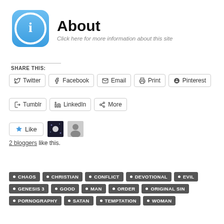[Figure (logo): Blue rounded square icon with white circle and lowercase 'i' information symbol]
About
Click here for more information about this site
SHARE THIS:
Twitter
Facebook
Email
Print
Pinterest
Tumblr
LinkedIn
More
Like
2 bloggers like this.
CHAOS
CHRISTIAN
CONFLICT
DEVOTIONAL
EVIL
GENESIS 3
GOOD
MAN
ORDER
ORIGINAL SIN
PORNOGRAPHY
SATAN
TEMPTATION
WOMAN